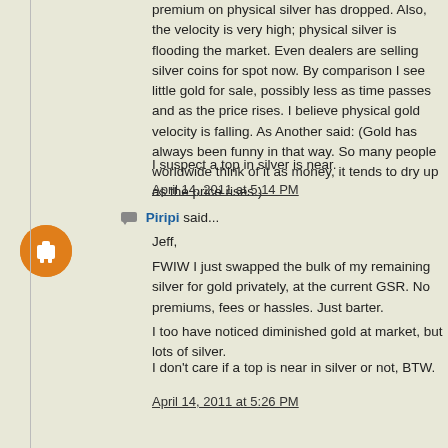premium on physical silver has dropped. Also, the velocity is very high; physical silver is flooding the market. Even dealers are selling silver coins for spot now. By comparison I see little gold for sale, possibly less as time passes and as the price rises. I believe physical gold velocity is falling. As Another said: (Gold has always been funny in that way. So many people worldwide think of it as money, it tends to dry up as the price rises.)
I suspect a top in silver is near.
April 14, 2011 at 5:14 PM
Piripi said...
Jeff,
FWIW I just swapped the bulk of my remaining silver for gold privately, at the current GSR. No premiums, fees or hassles. Just barter.
I too have noticed diminished gold at market, but lots of silver.
I don't care if a top is near in silver or not, BTW.
April 14, 2011 at 5:26 PM